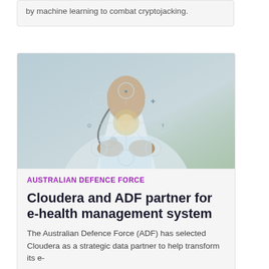by machine learning to combat cryptojacking.
[Figure (photo): A doctor in a lab coat holding a transparent tablet displaying a connected health icons network overlay — representing digital e-health technology.]
AUSTRALIAN DEFENCE FORCE
Cloudera and ADF partner for e-health management system
The Australian Defence Force (ADF) has selected Cloudera as a strategic data partner to help transform its e-